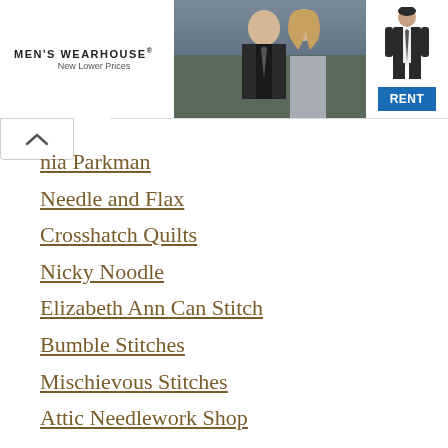[Figure (screenshot): Men's Wearhouse advertisement banner showing a couple in formal wear and a man in a dark suit, with a blue RENT button]
nia Parkman
Needle and Flax
Crosshatch Quilts
Nicky Noodle
Elizabeth Ann Can Stitch
Bumble Stitches
Mischievous Stitches
Attic Needlework Shop
Mama Loves You GB